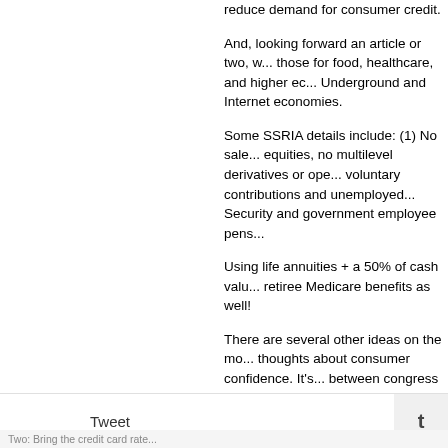reduce demand for consumer credit.
And, looking forward an article or two, we cover those for food, healthcare, and higher ec... Underground and Internet economies.
Some SSRIA details include: (1) No sale... equities, no multilevel derivatives or ope... voluntary contributions and unemployed... Security and government employee pens...
Using life annuities + a 50% of cash valu... retiree Medicare benefits as well!
There are several other ideas on the mo... thoughts about consumer confidence. It's... between congress and business lobbyist...
It's tough to be confident when we see W... same speculative garbage, and reward i... of mutilated shareholder-owners and "ho...
These confidence destroyers can be dea... spending without credit abuse:
One: Reduce the interest rate on all mor... payments accordingly. The banks owe u... activity.
Tweet    t
Two: Bring the credit card rate...